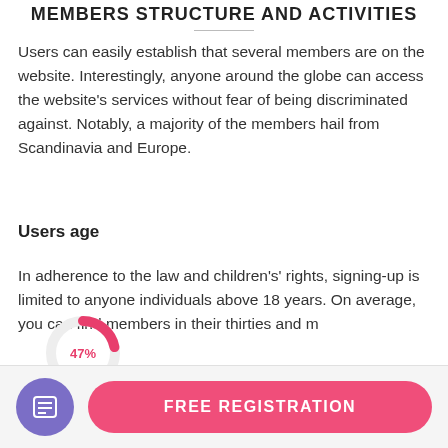MEMBERS STRUCTURE AND ACTIVITIES
Users can easily establish that several members are on the website. Interestingly, anyone around the globe can access the website’s services without fear of being discriminated against. Notably, a majority of the members hail from Scandinavia and Europe.
Users age
In adherence to the law and children’s’ rights, signing-up is limited to anyone individuals above 18 years. On average, you can find members in their thirties and m...
[Figure (donut-chart): Partial donut/pie chart showing 47% in pink/red color]
Sexual preferences
FREE REGISTRATION